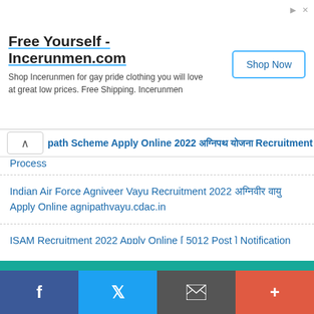[Figure (other): Advertisement banner: Free Yourself - Incerunmen.com. Shop Incerunmen for gay pride clothing you will love at great low prices. Free Shipping. Incerunmen. Shop Now button.]
path Scheme Apply Online 2022 अग्निपथ योजना Recruitment Process
Indian Air Force Agniveer Vayu Recruitment 2022 अग्निवीर वायु Apply Online agnipathvayu.cdac.in
ISAM Recruitment 2022 Apply Online [ 5012 Post ] Notification
FCI Recruitment 2022 Vacancy Notification & Apply Online Application Form